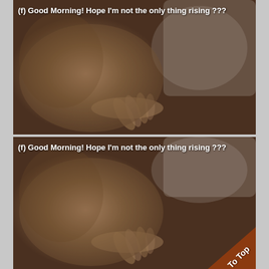[Figure (photo): Blurry bedroom photo showing a person lying in bed with sheets and pillows, viewed from above. White text overlay reads: (f) Good Morning! Hope I'm not the only thing rising ???]
[Figure (photo): Duplicate of the same blurry bedroom photo. White text overlay reads: (f) Good Morning! Hope I'm not the only thing rising ??? A brown diagonal 'To Top' badge appears in the bottom-right corner.]